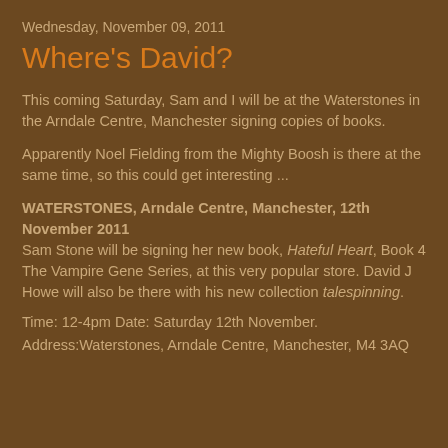Wednesday, November 09, 2011
Where's David?
This coming Saturday, Sam and I will be at the Waterstones in the Arndale Centre, Manchester signing copies of books.
Apparently Noel Fielding from the Mighty Boosh is there at the same time, so this could get interesting ...
WATERSTONES, Arndale Centre, Manchester, 12th November 2011
Sam Stone will be signing her new book, Hateful Heart, Book 4 The Vampire Gene Series, at this very popular store. David J Howe will also be there with his new collection talespinning.
Time: 12-4pm Date: Saturday 12th November.
Address:Waterstones, Arndale Centre, Manchester, M4 3AQ